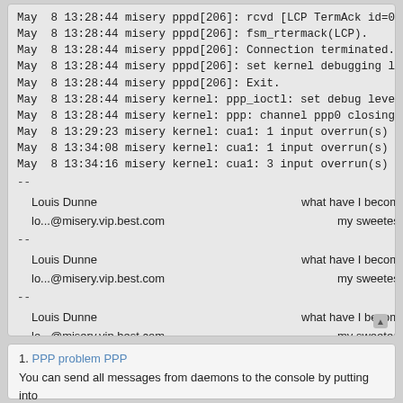May  8 13:28:44 misery pppd[206]: rcvd [LCP TermAck id=0x8] ee 7e
May  8 13:28:44 misery pppd[206]: fsm_rtermack(LCP).
May  8 13:28:44 misery pppd[206]: Connection terminated.
May  8 13:28:44 misery pppd[206]: set kernel debugging level to 2
May  8 13:28:44 misery pppd[206]: Exit.
May  8 13:28:44 misery kernel: ppp_ioctl: set debug level 2, netpacket 0
May  8 13:28:44 misery kernel: ppp: channel ppp0 closing.
May  8 13:29:23 misery kernel: cua1: 1 input overrun(s)
May  8 13:34:08 misery kernel: cua1: 1 input overrun(s)
May  8 13:34:16 misery kernel: cua1: 3 input overrun(s)
--
    Louis Dunne                                    what have I become
    lo...@misery.vip.best.com                           my sweetest friend
--
    Louis Dunne                                    what have I become
    lo...@misery.vip.best.com                           my sweetest friend
--
    Louis Dunne                                    what have I become
    lo...@misery.vip.best.com                           my sweetest friend
1. PPP problem PPP
You can send all messages from daemons to the console by putting into
/etc/syslog.conf a line which sez